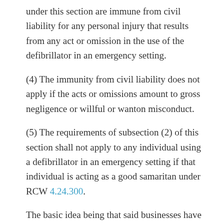under this section are immune from civil liability for any personal injury that results from any act or omission in the use of the defibrillator in an emergency setting.
(4) The immunity from civil liability does not apply if the acts or omissions amount to gross negligence or willful or wanton misconduct.
(5) The requirements of subsection (2) of this section shall not apply to any individual using a defibrillator in an emergency setting if that individual is acting as a good samaritan under RCW 4.24.300.
The basic idea being that said businesses have no liability to worry about, provided the